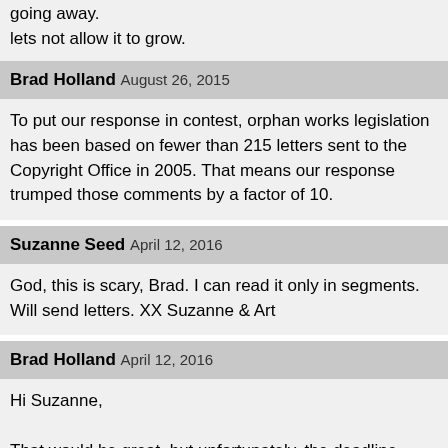going away.
lets not allow it to grow.
Brad Holland August 26, 2015
To put our response in contest, orphan works legislation has been based on fewer than 215 letters sent to the Copyright Office in 2005. That means our response trumped those comments by a factor of 10.
Suzanne Seed April 12, 2016
God, this is scary, Brad. I can read it only in segments. Will send letters. XX Suzanne & Art
Brad Holland April 12, 2016
Hi Suzanne,

That would be great, but unfortunately, the deadline